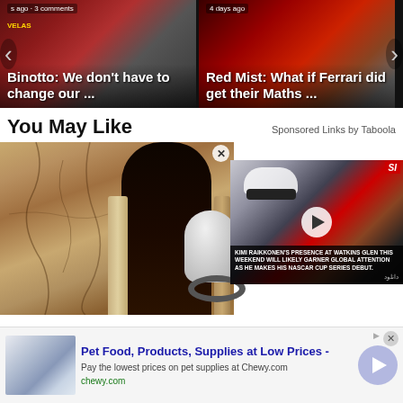[Figure (screenshot): Carousel of two article cards with navigation arrows. Left card: 's ago · 3 comments' meta, title 'Binotto: We don't have to change our ...' over a Ferrari driver image. Right card: '4 days ago' meta, title 'Red Mist: What if Ferrari did get their Maths ...' over a Ferrari pit scene.]
You May Like
Sponsored Links by Taboola
[Figure (photo): Large photo area showing cracked sandy/brown wall texture on left, a dark arched doorway in center-left, a robotic/camera device in center-right, and a video overlay panel on the right side showing a racing driver (Kimi Raikkonen) with SI badge, play button, and caption: 'KIMI RAIKKONEN'S PRESENCE AT WATKINS GLEN THIS WEEKEND WILL LIKELY GARNER GLOBAL ATTENTION AS HE MAKES HIS NASCAR CUP SERIES DEBUT.' Arabic text below.]
[Figure (screenshot): Advertisement banner for Chewy.com. Shows a thumbnail image on left, bold blue title 'Pet Food, Products, Supplies at Low Prices -', description 'Pay the lowest prices on pet supplies at Chewy.com', green domain 'chewy.com', close X button top right, ad indicator icon, and a circular arrow button on the right.]